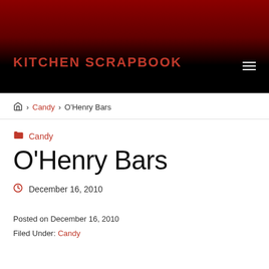KITCHEN SCRAPBOOK
🏠 › Candy › O'Henry Bars
📁 Candy
O'Henry Bars
December 16, 2010
Posted on December 16, 2010
Filed Under: Candy